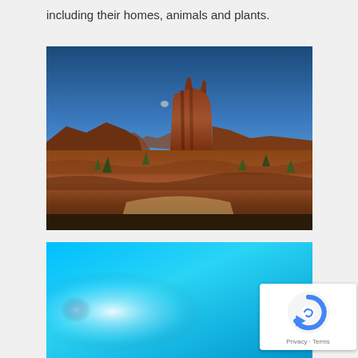including their homes, animals and plants.
[Figure (photo): Landscape photo of Monument Valley showing large red rock buttes (mesas) under a deep blue sky with a faint moon visible. Red/orange desert terrain in the foreground with sparse green vegetation.]
[Figure (photo): Dream catcher photographed against a bright cyan/blue sky with sun flare on the left side, partially cut off at bottom.]